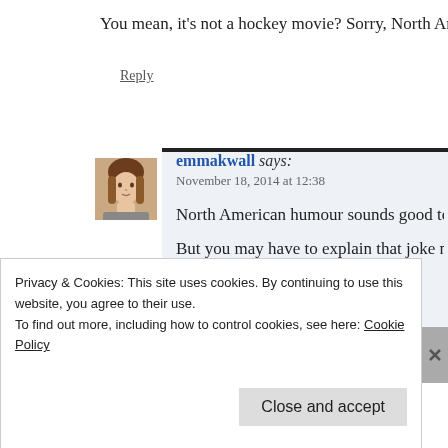You mean, it’s not a hockey movie? Sorry, North Amer…
Reply
[Figure (photo): Avatar photo of user emmakwall, a woman with brown hair]
emmakwall says: November 18, 2014 at 12:38
North American humour sounds good to m…
But you may have to explain that joke mor…
🙂
Reply
Privacy & Cookies: This site uses cookies. By continuing to use this website, you agree to their use.
To find out more, including how to control cookies, see here: Cookie Policy
Close and accept